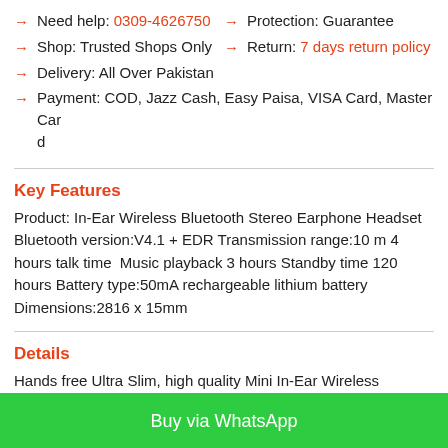Need help: 0309-4626750
Shop: Trusted Shops Only
Delivery: All Over Pakistan
Payment: COD, Jazz Cash, Easy Paisa, VISA Card, Master Card
Protection: Guarantee
Return: 7 days return policy
Key Features
Product: In-Ear Wireless Bluetooth Stereo Earphone Headset Bluetooth version:V4.1 + EDR Transmission range:10 m 4 hours talk time  Music playback 3 hours Standby time 120 hours Battery type:50mA rechargeable lithium battery Dimensions:2816 x 15mm
Details
Hands free Ultra Slim, high quality Mini In-Ear Wireless Bluetooth Stereo Earphone Headset can fit easily in both ears. Now you can enjoy high quality sound at wonderful 10 meters range. It supports both Music and call. Built in lion battery has 4 hours talk time, 3 hours music playback, and 120 hours standby time. Compatible with for
Buy via WhatsApp